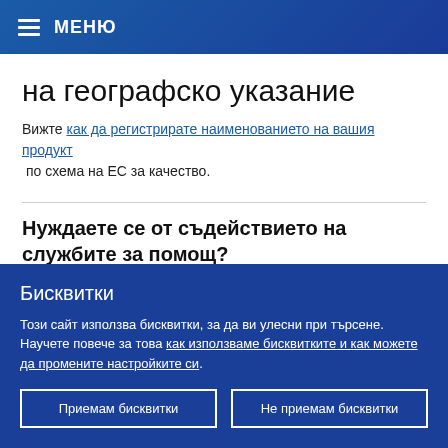МЕНЮ
на географско указание
Вижте как да регистрирате наименованието на вашия продукт по схема на ЕС за качество.
Нуждаете се от съдействието на службите за помощ?
Бисквитки
Този сайт използва бисквитки, за да ви улесни при търсене. Научете повече за това как използваме бисквитките и как можете да промените настройките си.
Приемам бисквитки
Не приемам бисквитки